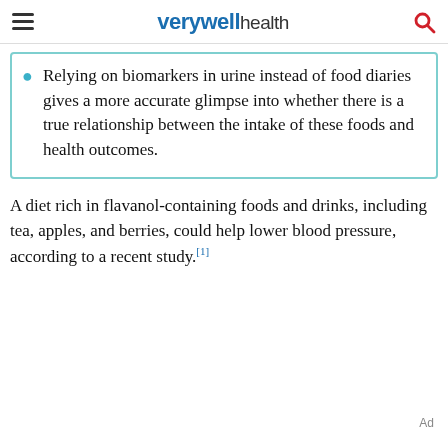verywell health
Relying on biomarkers in urine instead of food diaries gives a more accurate glimpse into whether there is a true relationship between the intake of these foods and health outcomes.
A diet rich in flavanol-containing foods and drinks, including tea, apples, and berries, could help lower blood pressure, according to a recent study.[1]
Ad